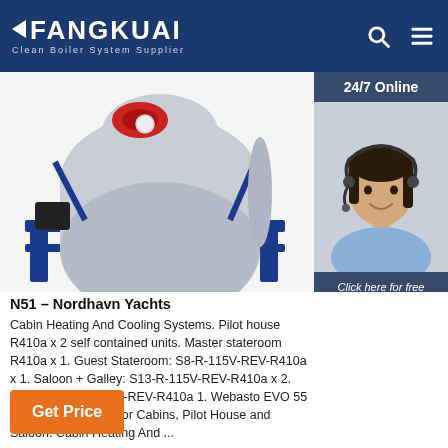FANGKUAI Clean Boiler System Supplier
[Figure (photo): Industrial boiler unit in blue and grey mounted on a blue steel frame, photographed from the front. Partial view of a customer service representative on the right side with '24/7 Online' banner and 'Click here for free chat!' overlay with QUOTATION button.]
N51 – Nordhavn Yachts
Cabin Heating And Cooling Systems. Pilot house R410a x 2 self contained units. Master stateroom R410a x 1. Guest Stateroom: S8-R-115V-REV-R410a x 1. Saloon + Galley: S13-R-115V-REV-R410a x 2. Laundry: S6-R-115V-REV-R410a 1. Webasto EVO 55 Air Heating system for Cabins, Pilot House and Saloon. Cabin Heating And ...
Get Price